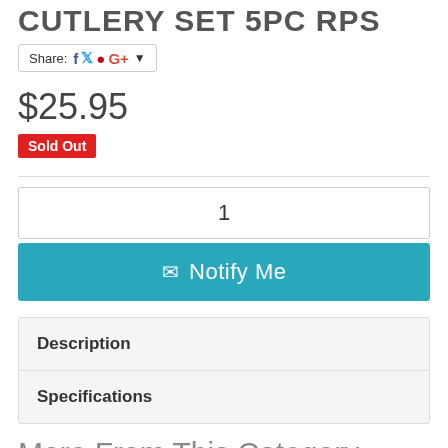CUTLERY SET 5PC RPS
Share: [Facebook] [Twitter] [Pinterest] [Google+] ▾
$25.95
Sold Out
1
✉ Notify Me
Description
Specifications
More From This Category